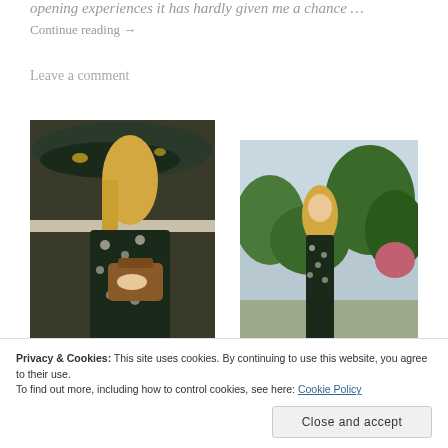opening experiences it has hardly given me a chance …
Continue reading →
Leave a comment
[Figure (photo): Two fashion photos: left photo shows a woman sitting near a fountain wearing a dark floral patterned jumpsuit holding a brown leather bag; right photo shows the same woman standing outdoors among green trees wearing the same dark floral jumpsuit.]
Privacy & Cookies: This site uses cookies. By continuing to use this website, you agree to their use.
To find out more, including how to control cookies, see here: Cookie Policy
Close and accept